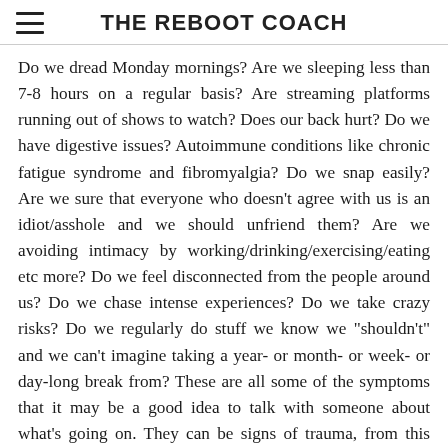THE REBOOT COACH
Do we dread Monday mornings? Are we sleeping less than 7-8 hours on a regular basis? Are streaming platforms running out of shows to watch? Does our back hurt? Do we have digestive issues? Autoimmune conditions like chronic fatigue syndrome and fibromyalgia? Do we snap easily? Are we sure that everyone who doesn't agree with us is an idiot/asshole and we should unfriend them? Are we avoiding intimacy by working/drinking/exercising/eating etc more? Do we feel disconnected from the people around us? Do we chase intense experiences? Do we take crazy risks? Do we regularly do stuff we know we "shouldn't" and we can't imagine taking a year- or month- or week- or day-long break from? These are all some of the symptoms that it may be a good idea to talk with someone about what's going on. They can be signs of trauma, from this year and/or from previous incidents and situations. And fortunately, experiencing a trip is possible